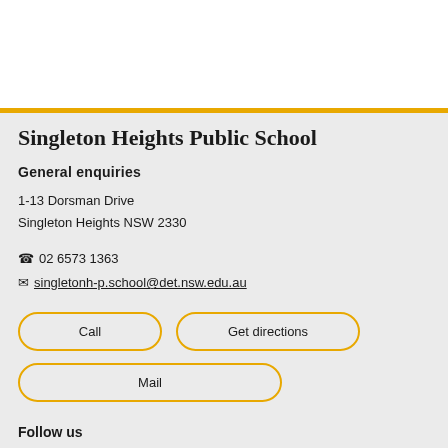Singleton Heights Public School
General enquiries
1-13 Dorsman Drive
Singleton Heights NSW 2330
☎ 02 6573 1363
✉ singletonh-p.school@det.nsw.edu.au
Call
Get directions
Mail
Follow us